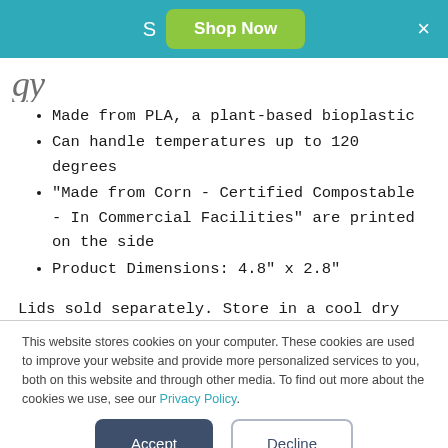S  Shop Now  ×
[Figure (other): Partial cursive/script logo or brand name in dark text]
Made from PLA, a plant-based bioplastic
Can handle temperatures up to 120 degrees
"Made from Corn - Certified Compostable - In Commercial Facilities" are printed on the side
Product Dimensions: 4.8" x 2.8"
Lids sold separately. Store in a cool dry place, away from direct sunlight. Not microwaveable.
This website stores cookies on your computer. These cookies are used to improve your website and provide more personalized services to you, both on this website and through other media. To find out more about the cookies we use, see our Privacy Policy.